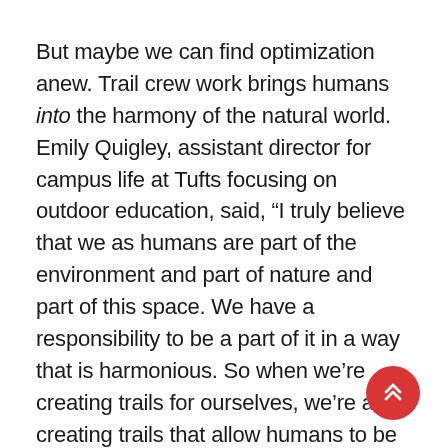But maybe we can find optimization anew. Trail crew work brings humans into the harmony of the natural world. Emily Quigley, assistant director for campus life at Tufts focusing on outdoor education, said, “I truly believe that we as humans are part of the environment and part of nature and part of this space. We have a responsibility to be a part of it in a way that is harmonious. So when we’re creating trails for ourselves, we’re also creating trails that allow humans to be part of that environment in a mutually beneficial or flourishing way, to use the words from [the book] Braiding Sweetgrass.” In late August, I spent a couple of days helping realign a trail in southern Vermont. The pre-